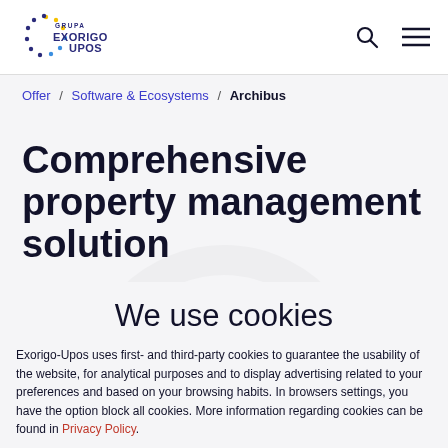[Figure (logo): Grupa Exorigo-Upos logo with circular dot pattern and text]
Offer / Software & Ecosystems / Archibus
Comprehensive property management solution
We use cookies
Exorigo-Upos uses first- and third-party cookies to guarantee the usability of the website, for analytical purposes and to display advertising related to your preferences and based on your browsing habits. In browsers settings, you have the option block all cookies. More information regarding cookies can be found in Privacy Policy.
Accept all cookies